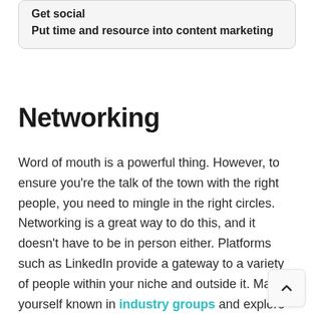Get social
Put time and resource into content marketing
Networking
Word of mouth is a powerful thing. However, to ensure you're the talk of the town with the right people, you need to mingle in the right circles. Networking is a great way to do this, and it doesn't have to be in person either. Platforms such as LinkedIn provide a gateway to a variety of people within your niche and outside it. Make yourself known in industry groups and explore niches you'd like to move into. There are many people out there who need your products and services, so start finding them to increase your brand awareness.